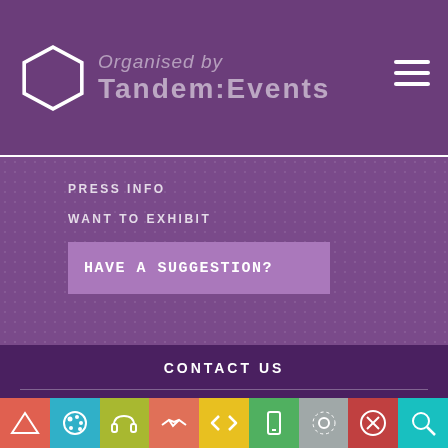Organised by Tandem:Events
PRESS INFO
WANT TO EXHIBIT
HAVE A SUGGESTION?
CONTACT US
PRIVACY POLICY
EXHIBITORS ZONE
[Figure (infographic): Bottom navigation icon bar with 9 colored cells containing icons: triangle/ruler (red-orange), paint palette (cyan), headphones (yellow-green), handshake (salmon), code brackets (yellow), mobile phone (green), settings/sun (gray), circle-x (dark red), search/magnifier (cyan)]